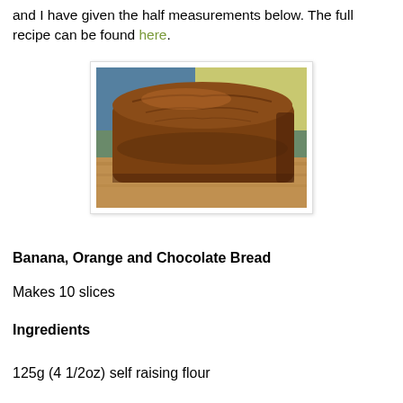and I have given the half measurements below. The full recipe can be found here.
[Figure (photo): A loaf of banana, orange and chocolate bread on a wooden surface, with a greenish background.]
Banana, Orange and Chocolate Bread
Makes 10 slices
Ingredients
125g (4 1/2oz) self raising flour